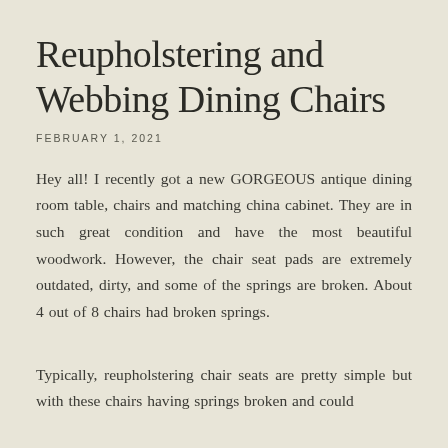Reupholstering and Webbing Dining Chairs
FEBRUARY 1, 2021
Hey all! I recently got a new GORGEOUS antique dining room table, chairs and matching china cabinet. They are in such great condition and have the most beautiful woodwork. However, the chair seat pads are extremely outdated, dirty, and some of the springs are broken. About 4 out of 8 chairs had broken springs.
Typically, reupholstering chair seats are pretty simple but with these chairs having springs broken and could